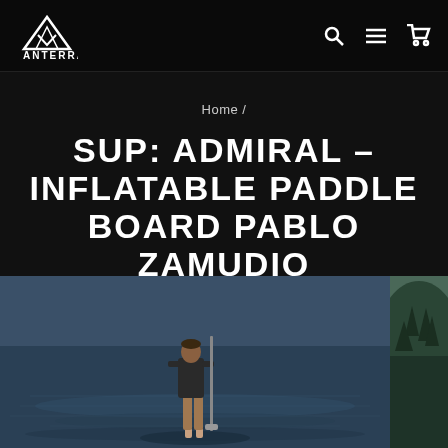VANTERRA
Home /
SUP: ADMIRAL – INFLATABLE PADDLE BOARD PABLO ZAMUDIO
[Figure (photo): A person standing on a paddleboard on calm blue lake water, viewed from behind, with dark water and a mountainous shoreline in the background. A second image partially visible on the right showing green forested hillside.]